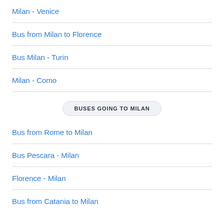Milan - Venice
Bus from Milan to Florence
Bus Milan - Turin
Milan - Como
BUSES GOING TO MILAN
Bus from Rome to Milan
Bus Pescara - Milan
Florence - Milan
Bus from Catania to Milan